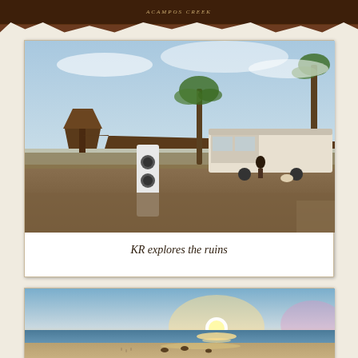[Figure (photo): RV/trailer camping site near beach with palm trees, thatched palapas, and a person walking. Warm sunset light. A white speaker/post in foreground.]
KR explores the ruins
[Figure (photo): Sunset over ocean beach with birds on wet sand and sun reflecting on water.]